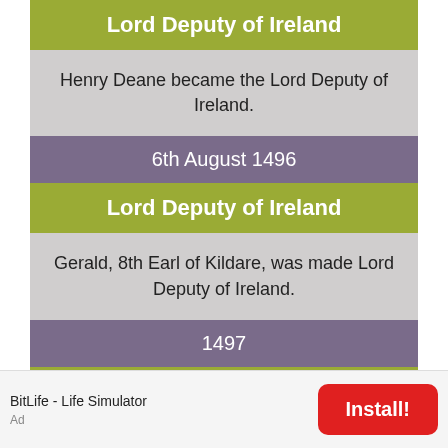Lord Deputy of Ireland
Henry Deane became the Lord Deputy of Ireland.
6th August 1496
Lord Deputy of Ireland
Gerald, 8th Earl of Kildare, was made Lord Deputy of Ireland.
1497
Edmund Dudley
Edmund Dudley was appointed Under-Sheriff of
BitLife - Life Simulator
Ad
Install!